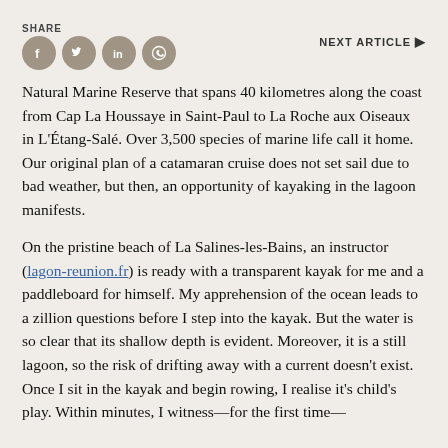SHARE
[Figure (illustration): Social media share icons: Facebook, Twitter, LinkedIn, WhatsApp as circular buttons]
NEXT ARTICLE ▶
Natural Marine Reserve that spans 40 kilometres along the coast from Cap La Houssaye in Saint-Paul to La Roche aux Oiseaux in L'Étang-Salé. Over 3,500 species of marine life call it home. Our original plan of a catamaran cruise does not set sail due to bad weather, but then, an opportunity of kayaking in the lagoon manifests.
On the pristine beach of La Salines-les-Bains, an instructor (lagon-reunion.fr) is ready with a transparent kayak for me and a paddleboard for himself. My apprehension of the ocean leads to a zillion questions before I step into the kayak. But the water is so clear that its shallow depth is evident. Moreover, it is a still lagoon, so the risk of drifting away with a current doesn't exist. Once I sit in the kayak and begin rowing, I realise it's child's play. Within minutes, I witness—for the first time—